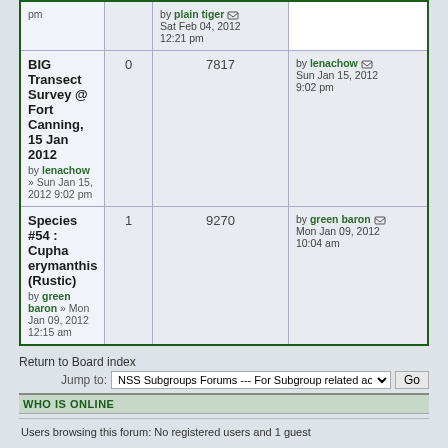| Topic | Replies | Views | Last post |
| --- | --- | --- | --- |
| by plain tiger » Sat Feb 04, 2012 12:21 pm |  |  | by plain tiger
Sat Feb 04, 2012 12:21 pm |
| BIG Transect Survey @ Fort Canning, 15 Jan 2012
by lenachow » Sun Jan 15, 2012 9:02 pm | 0 | 7817 | by lenachow
Sun Jan 15, 2012 9:02 pm |
| Species #54 : Cupha erymanthis (Rustic)
by green baron » Mon Jan 09, 2012 12:15 am | 1 | 9270 | by green baron
Mon Jan 09, 2012 10:04 am |
Return to Board index
Jump to: NSS Subgroups Forums --- For Subgroup related activities ---
WHO IS ONLINE
Users browsing this forum: No registered users and 1 guest
Board index
The team • Delete all board cookies • All times are UTC + 8 hours
Powered by phpBB © 2000, 2002, 2005, 2007 phpBB Group